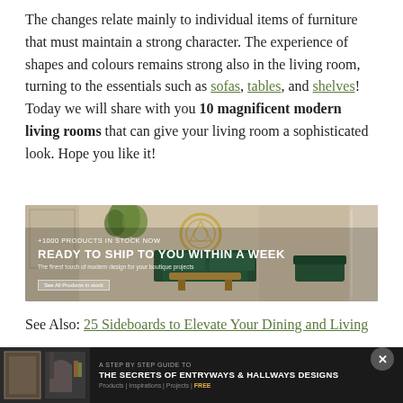The changes relate mainly to individual items of furniture that must maintain a strong character. The experience of shapes and colours remains strong also in the living room, turning to the essentials such as sofas, tables, and shelves! Today we will share with you 10 magnificent modern living rooms that can give your living room a sophisticated look. Hope you like it!
[Figure (photo): Advertisement banner showing a luxury living room with green velvet sofa, gold circular wall decor, and plants. Text reads '+1000 PRODUCTS IN STOCK NOW / READY TO SHIP TO YOU WITHIN A WEEK / The finest touch of modern design for your boutique projects / See All Products in stock']
See Also: 25 Sideboards to Elevate Your Dining and Living
[Figure (photo): Bottom popup banner with dark background showing 'A STEP BY STEP GUIDE TO THE SECRETS OF ENTRYWAYS & HALLWAYS DESIGNS' with navigation links Products | Inspirations | Projects | FREE and a close button]